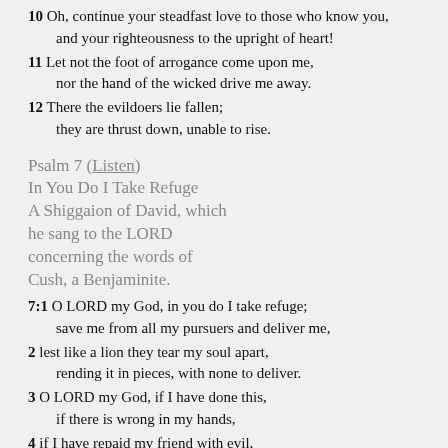10  Oh, continue your steadfast love to those who know you,
    and your righteousness to the upright of heart!
11  Let not the foot of arrogance come upon me,
    nor the hand of the wicked drive me away.
12  There the evildoers lie fallen;
    they are thrust down, unable to rise.
Psalm 7 (Listen)
In You Do I Take Refuge
A Shiggaion of David, which he sang to the LORD concerning the words of Cush, a Benjaminite.
7:1  O LORD my God, in you do I take refuge;
     save me from all my pursuers and deliver me,
2  lest like a lion they tear my soul apart,
   rending it in pieces, with none to deliver.
3  O LORD my God, if I have done this,
   if there is wrong in my hands,
4  if I have repaid my friend with evil,